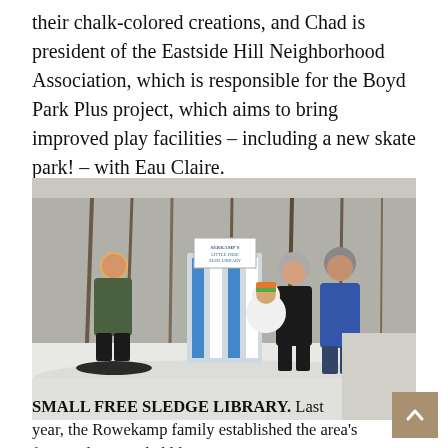their chalk-colored creations, and Chad is president of the Eastside Hill Neighborhood Association, which is responsible for the Boyd Park Plus project, which aims to bring improved play facilities – including a new skate park! – with Eau Claire.
[Figure (photo): A family of four standing outdoors in winter snow next to a colorful 'Little Free Sled Library' structure. A child is on a snowboard on the left wearing an orange hat and green jacket. Two adults and a young girl in a polar bear costume-style outfit stand to the right. Bare trees and a snowy path are visible in the background.]
SMALL FREE SLEDGE LIBRARY. Last year, the Rowekamp family established the area's first Little Free Sled library at